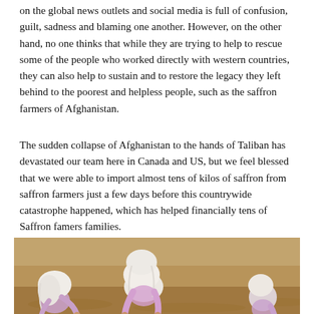on the global news outlets and social media is full of confusion, guilt, sadness and blaming one another. However, on the other hand, no one thinks that while they are trying to help to rescue some of the people who worked directly with western countries, they can also help to sustain and to restore the legacy they left behind to the poorest and helpless people, such as the saffron farmers of Afghanistan.
The sudden collapse of Afghanistan to the hands of Taliban has devastated our team here in Canada and US, but we feel blessed that we were able to import almost tens of kilos of saffron from saffron farmers just a few days before this countrywide catastrophe happened, which has helped financially tens of Saffron famers families.
[Figure (photo): Three women wearing white headscarves and light purple clothing, crouching or bending down on dry, sandy/dusty ground, likely saffron farmers in Afghanistan.]